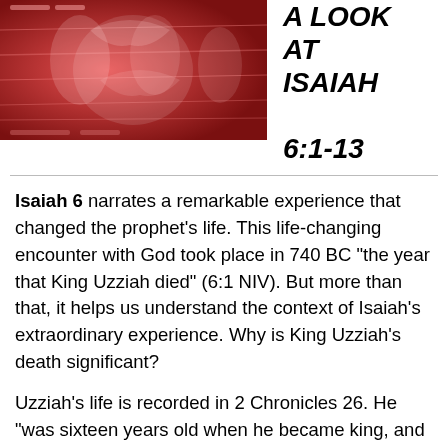[Figure (photo): Reddish-toned artistic image with abstract figures, used as header illustration for the article]
A LOOK AT ISAIAH 6:1-13
Isaiah 6 narrates a remarkable experience that changed the prophet's life. This life-changing encounter with God took place in 740 BC “the year that King Uzziah died” (6:1 NIV). But more than that, it helps us understand the context of Isaiah’s extraordinary experience. Why is King Uzziah’s death significant?
Uzziah’s life is recorded in 2 Chronicles 26. He “was sixteen years old when he became king, and he reigned in Jerusalem for fifty-two years … He did what was right in the eyes of the LORD … He sought God during the days